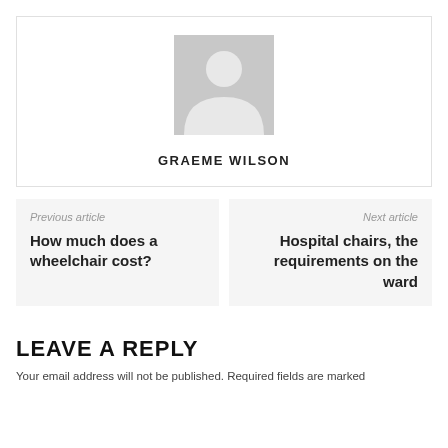[Figure (illustration): Gray placeholder avatar icon showing a person silhouette (head and shoulders) on a light gray background square]
GRAEME WILSON
Previous article
How much does a wheelchair cost?
Next article
Hospital chairs, the requirements on the ward
LEAVE A REPLY
Your email address will not be published. Required fields are marked